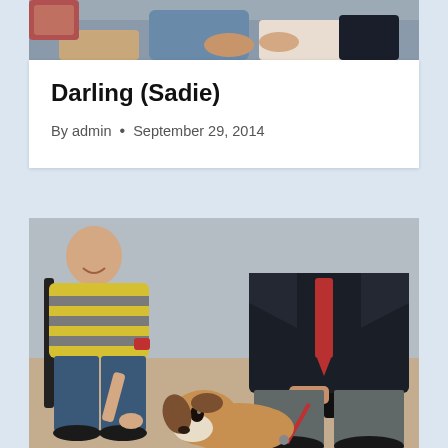[Figure (photo): Partial photo of people sitting, cropped at top — top portion of a photo showing laps/hands of seated individuals]
Darling (Sadie)
By admin • September 29, 2014
[Figure (photo): Photo of a smiling boy wearing a yellow and grey striped hoodie sitting next to a man in a dark suit with a red tie, with a beagle dog on a red leash in the foreground]